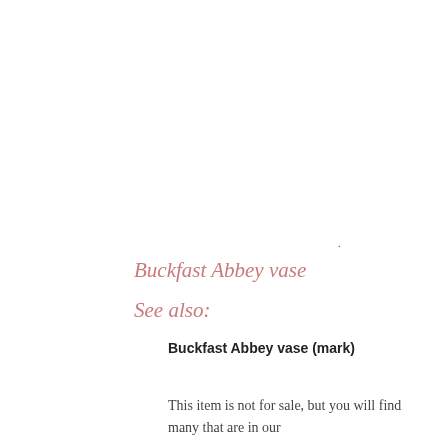Buckfast Abbey vase
See also:
Buckfast Abbey vase (mark)
This item is not for sale, but you will find many that are in our